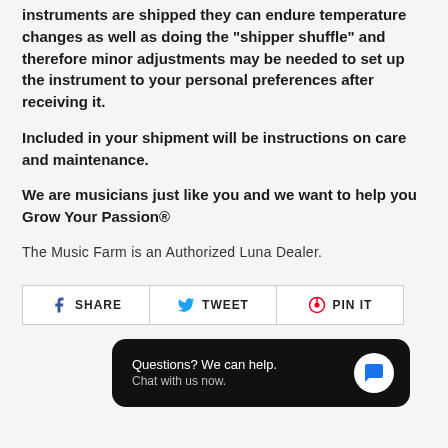instruments are shipped they can endure temperature changes as well as doing the "shipper shuffle" and therefore minor adjustments may be needed to set up the instrument to your personal preferences after receiving it.
Included in your shipment will be instructions on care and maintenance.
We are musicians just like you and we want to help you Grow Your Passion®
The Music Farm is an Authorized Luna Dealer.
[Figure (infographic): Social share buttons: Facebook SHARE, Twitter TWEET, Pinterest PIN IT]
[Figure (infographic): Chat widget: Questions? We can help. Chat with us now. with blue chat bubble icon on dark background.]